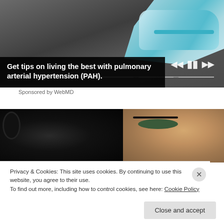[Figure (screenshot): Advertisement image showing running shoes on asphalt with media player controls overlay and text overlay: Get tips on living the best with pulmonary arterial hypertension (PAH).]
Sponsored by WebMD
[Figure (photo): Close-up photo of two people's faces — one person wearing headphones on the left, another person with detailed eye makeup on the right.]
Privacy & Cookies: This site uses cookies. By continuing to use this website, you agree to their use.
To find out more, including how to control cookies, see here: Cookie Policy
Close and accept